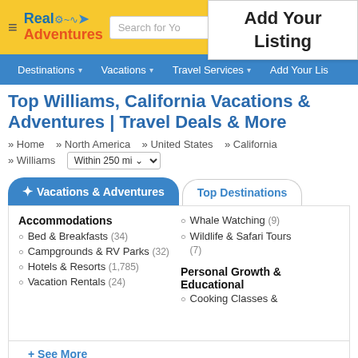[Figure (screenshot): Real Adventures website header with logo, search bar, and Add Your Listing popup]
Add Your Listing
Destinations ▾   Vacations ▾   Travel Services ▾   Add Your Lis...
Top Williams, California Vacations & Adventures | Travel Deals & More
» Home » North America » United States » California » Williams   Within 250 mi
✦ Vacations & Adventures
Top Destinations
Accommodations
Bed & Breakfasts (34)
Campgrounds & RV Parks (32)
Hotels & Resorts (1,785)
Vacation Rentals (24)
Whale Watching (9)
Wildlife & Safari Tours (7)
Personal Growth & Educational
Cooking Classes &...
+ See More